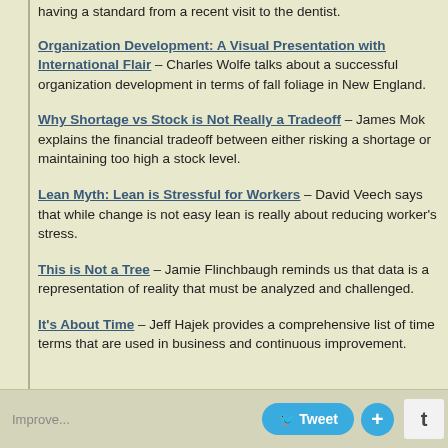Organization Development: A Visual Presentation with International Flair – Charles Wolfe talks about a successful organization development in terms of fall foliage in New England.
Why Shortage vs Stock is Not Really a Tradeoff – James Mok explains the financial tradeoff between either risking a shortage or maintaining too high a stock level.
Lean Myth: Lean is Stressful for Workers – David Veech says that while change is not easy lean is really about reducing worker's stress.
This is Not a Tree – Jamie Flinchbaugh reminds us that data is a representation of reality that must be analyzed and challenged.
It's About Time – Jeff Hajek provides a comprehensive list of time terms that are used in business and continuous improvement.
Tweet +  t